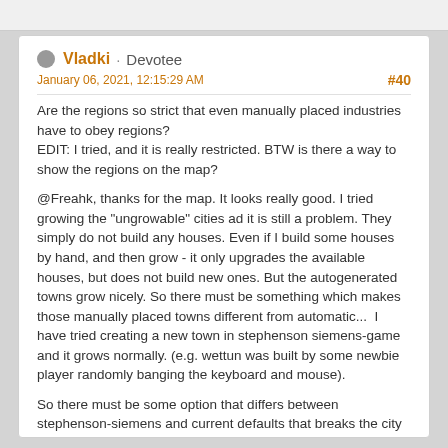Vladki · Devotee
January 06, 2021, 12:15:29 AM
#40
Are the regions so strict that even manually placed industries have to obey regions?
EDIT: I tried, and it is really restricted. BTW is there a way to show the regions on the map?
@Freahk, thanks for the map. It looks really good. I tried growing the "ungrowable" cities ad it is still a problem. They simply do not build any houses. Even if I build some houses by hand, and then grow - it only upgrades the available houses, but does not build new ones. But the autogenerated towns grow nicely. So there must be something which makes those manually placed towns different from automatic...  I have tried creating a new town in stephenson siemens-game and it grows normally. (e.g. wettun was built by some newbie player randomly banging the keyboard and mouse).
So there must be some option that differs between stephenson-siemens and current defaults that breaks the city growth, but only